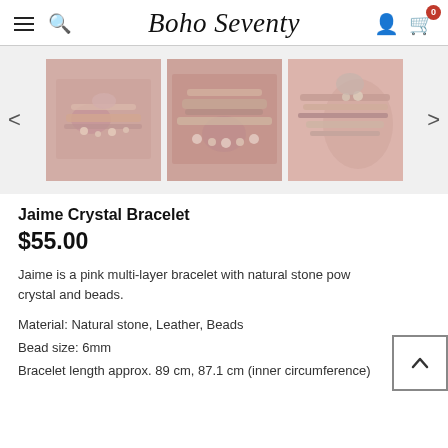Boho Seventy
[Figure (photo): Three thumbnail images of the Jaime Crystal Bracelet — pink multi-layer bracelets with natural stone, crystal, beads and gold accents, shown on wooden surface and on wrist]
Jaime Crystal Bracelet
$55.00
Jaime is a pink multi-layer bracelet with natural stone pow crystal and beads.
Material: Natural stone, Leather, Beads
Bead size: 6mm
Bracelet length approx. 89 cm, 87.1 cm (inner circumference)